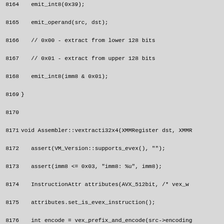Source code listing lines 8164-8194, C++ assembler code for vextracti32x4 functions
8164    emit_int8(0x39);
8165    emit_operand(src, dst);
8166    // 0x00 - extract from lower 128 bits
8167    // 0x01 - extract from upper 128 bits
8168    emit_int8(imm8 & 0x01);
8169 }
8170
8171 void Assembler::vextracti32x4(XMMRegister dst, XMMR
8172    assert(VM_Version::supports_evex(), "");
8173    assert(imm8 <= 0x03, "imm8: %u", imm8);
8174    InstructionAttr attributes(AVX_512bit, /* vex_w
8175    attributes.set_is_evex_instruction();
8176    int encode = vex_prefix_and_encode(src->encoding
8177    // imm8:
8178    // 0x00 - extract from bits 127:0
8179    // 0x01 - extract from bits 255:128
8180    // 0x02 - extract from bits 383:256
8181    // 0x03 - extract from bits 511:384
8182    emit_int24(0x39, (0xC0 | encode), imm8 & 0x03);
8183 }
8184
8185 void Assembler::vextracti32x4(Address dst, XMMRegis
8186    assert(VM_Version::supports_evex(), "");
8187    assert(src != xnoreg, "sanity");
8188    assert(imm8 <= 0x03, "imm8: %u", imm8);
8189    InstructionMark im(this);
8190    InstructionAttr attributes(AVX_512bit, /* vex_w
8191    attributes.set_address_attributes(/* tuple_type
8192    attributes.reset_is_clear_context();
8193    attributes.set_is_evex_instruction();
8194    ...